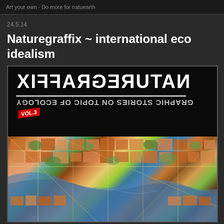Art your own · Do more for natuearth
24.5.14
Naturegraffix ~ international eco idealism
[Figure (illustration): Book cover for Naturegraffix Vol.3 showing mirrored/reversed text 'NATUREGRAFFIX' in large white bold letters on black background, subtitle 'GRAPHIC STORIES ON TOPIC OF ECOLOGY' mirrored vertically, with Vol.3 badge, and below a colorful illustrated aerial map of a city with rivers, roads, and dense urban blocks in orange, green, blue and yellow tones.]